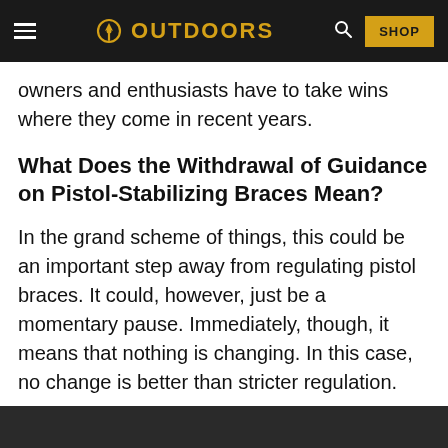OUTDOORS | SHOP
owners and enthusiasts have to take wins where they come in recent years.
What Does the Withdrawal of Guidance on Pistol-Stabilizing Braces Mean?
In the grand scheme of things, this could be an important step away from regulating pistol braces. It could, however, just be a momentary pause. Immediately, though, it means that nothing is changing. In this case, no change is better than stricter regulation.